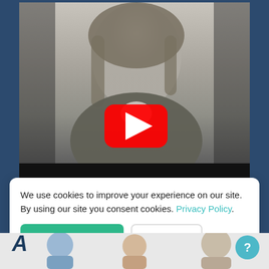[Figure (screenshot): A YouTube video thumbnail showing a black-and-white engraved portrait of Benjamin Franklin with a red YouTube play button overlay. Below the thumbnail is a black bar.]
We use cookies to improve your experience on our site. By using our site you consent cookies. Privacy Policy.
[Figure (screenshot): Cookie consent banner with Allow Cookies (green) and Decline (outlined) buttons. Below is a partial 'A' letter visible and a bottom strip with figures and a teal help button.]